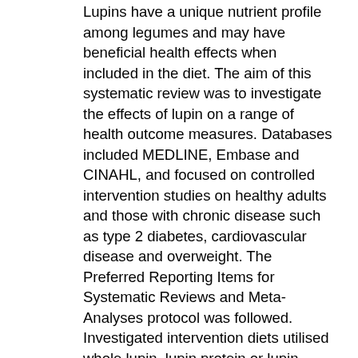Lupins have a unique nutrient profile among legumes and may have beneficial health effects when included in the diet. The aim of this systematic review was to investigate the effects of lupin on a range of health outcome measures. Databases included MEDLINE, Embase and CINAHL, and focused on controlled intervention studies on healthy adults and those with chronic disease such as type 2 diabetes, cardiovascular disease and overweight. The Preferred Reporting Items for Systematic Reviews and Meta-Analyses protocol was followed. Investigated intervention diets utilised whole lupin, lupin protein or lupin fibre, and outcomes were measured by markers of chronic disease, body weight and satiety. Quality assessment of results was performed using the Cochrane revised risk of bias tool. Overall, 21 studies with 998 participants were included: 12 using whole lupin, four used lupin protein and five lupin fibre. Beneficial changes were observed in 71% of studies that measured blood pressure, 83% measuring satiety and 64% measuring serum lipids. Unintended weight loss occurred in 25% of studies. Whole lupin demonstrated more consistent beneficial effects for satiety, glycaemic control and blood pressure than lupin protein or lupin fibre. Heterogeneity, low study numbers and a small participant base indicated further studies are required to